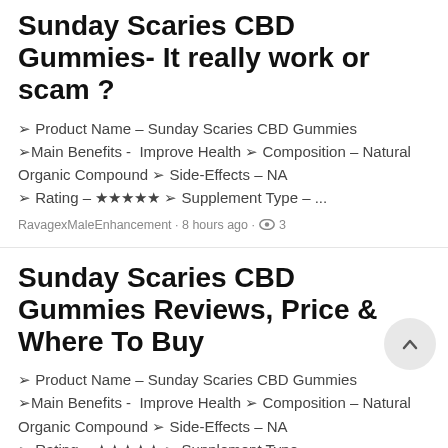Sunday Scaries CBD Gummies- It really work or scam ?
➢ Product Name – Sunday Scaries CBD Gummies ➢Main Benefits -  Improve Health ➢ Composition – Natural Organic Compound ➢ Side-Effects – NA ➢ Rating – ★★★★★ ➢ Supplement Type – ...
RavagexMaleEnhancement · 8 hours ago · 👁 3
Sunday Scaries CBD Gummies Reviews, Price & Where To Buy
➢ Product Name – Sunday Scaries CBD Gummies ➢Main Benefits -  Improve Health ➢ Composition – Natural Organic Compound ➢ Side-Effects – NA ➢ Rating – ★★★★★ ➢ Supplement Type – ...
RavagexMaleEnhancement · 8 hours ago · 👁 3